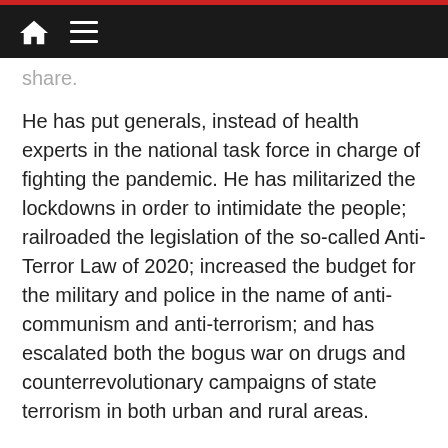[navigation bar with home and menu icons]
share.
He has put generals, instead of health experts in the national task force in charge of fighting the pandemic. He has militarized the lockdowns in order to intimidate the people; railroaded the legislation of the so-called Anti-Terror Law of 2020; increased the budget for the military and police in the name of anti-communism and anti-terrorism; and has escalated both the bogus war on drugs and counterrevolutionary campaigns of state terrorism in both urban and rural areas.
The Marcos and Duterte regimes are quite similar in unleashing state terrorism against the people. But the difference is that Duterte within the span of